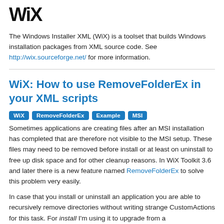WiX
The Windows Installer XML (WiX) is a toolset that builds Windows installation packages from XML source code. See http://wix.sourceforge.net/ for more information.
WiX: How to use RemoveFolderEx in your XML scripts
WiX
RemoveFolderEx
Example
MSI
Sometimes applications are creating files after an MSI installation has completed that are therefore not visible to the MSI setup. These files may need to be removed before install or at least on uninstall to free up disk space and for other cleanup reasons. In WiX Toolkit 3.6 and later there is a new feature named RemoveFolderEx to solve this problem very easily.
In case that you install or uninstall an application you are able to recursively remove directories without writing strange CustomActions for this task. For install I'm using it to upgrade from a